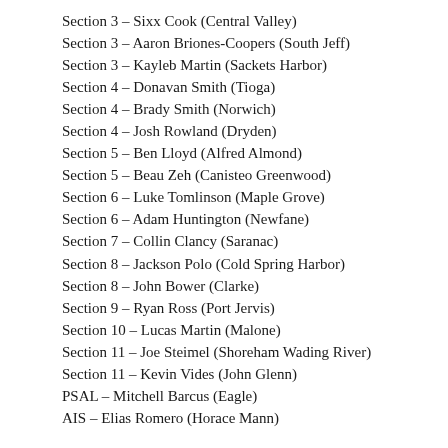Section 3 – Sixx Cook (Central Valley)
Section 3 – Aaron Briones-Coopers (South Jeff)
Section 3 – Kayleb Martin (Sackets Harbor)
Section 4 – Donavan Smith (Tioga)
Section 4 – Brady Smith (Norwich)
Section 4 – Josh Rowland (Dryden)
Section 5 – Ben Lloyd (Alfred Almond)
Section 5 – Beau Zeh (Canisteo Greenwood)
Section 6 – Luke Tomlinson (Maple Grove)
Section 6 – Adam Huntington (Newfane)
Section 7 – Collin Clancy (Saranac)
Section 8 – Jackson Polo (Cold Spring Harbor)
Section 8 – John Bower (Clarke)
Section 9 – Ryan Ross (Port Jervis)
Section 10 – Lucas Martin (Malone)
Section 11 – Joe Steimel (Shoreham Wading River)
Section 11 – Kevin Vides (John Glenn)
PSAL – Mitchell Barcus (Eagle)
AIS – Elias Romero (Horace Mann)